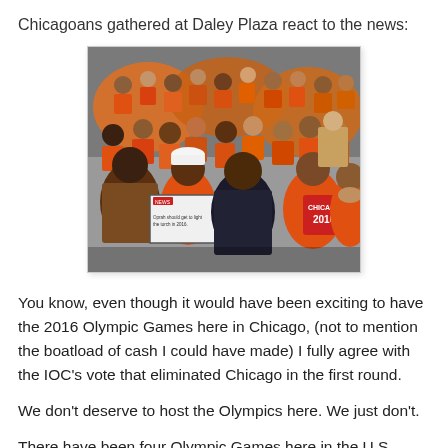Chicagoans gathered at Daley Plaza react to the news:
[Figure (photo): A large crowd of people gathered at Daley Plaza, many wearing orange Chicago 2016 Olympic bid shirts and t-shirts. A woman in the foreground holds a sign reading 'Oprah should get to light the torch in 2016'. Others hold Chicago 2016 signs. Crowd shows shocked and emotional reactions.]
You know, even though it would have been exciting to have the 2016 Olympic Games here in Chicago, (not to mention the boatload of cash I could have made) I fully agree with the IOC's vote that eliminated Chicago in the first round.
We don't deserve to host the Olympics here. We just don't.
There have been four Olympic Games here in the U.S.